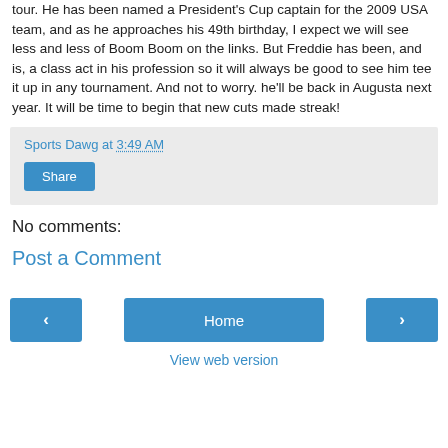tour. He has been named a President's Cup captain for the 2009 USA team, and as he approaches his 49th birthday, I expect we will see less and less of Boom Boom on the links. But Freddie has been, and is, a class act in his profession so it will always be good to see him tee it up in any tournament. And not to worry. he'll be back in Augusta next year. It will be time to begin that new cuts made streak!
Sports Dawg at 3:49 AM
Share
No comments:
Post a Comment
‹  Home  ›  View web version